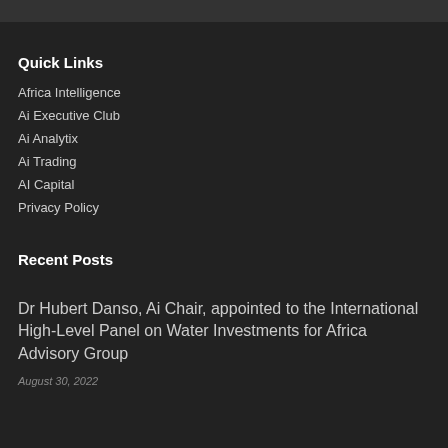Quick Links
Africa Intelligence
Ai Executive Club
Ai Analytix
Ai Trading
AI Capital
Privacy Policy
Recent Posts
Dr Hubert Danso, Ai Chair, appointed to the International High-Level Panel on Water Investments for Africa Advisory Group
August 30, 2022